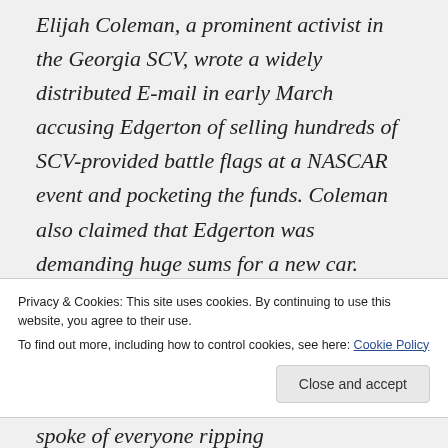Elijah Coleman, a prominent activist in the Georgia SCV, wrote a widely distributed E-mail in early March accusing Edgerton of selling hundreds of SCV-provided battle flags at a NASCAR event and pocketing the funds. Coleman also claimed that Edgerton was demanding huge sums for a new car.
Privacy & Cookies: This site uses cookies. By continuing to use this website, you agree to their use. To find out more, including how to control cookies, see here: Cookie Policy
spoke of everyone ripping